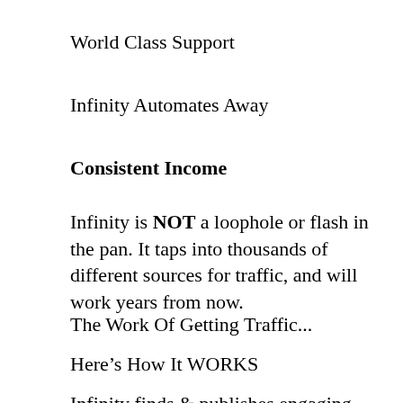World Class Support
Infinity Automates Away
Consistent Income
Infinity is NOT a loophole or flash in the pan. It taps into thousands of different sources for traffic, and will work years from now.
The Work Of Getting Traffic...
Here’s How It WORKS
Infinity finds & publishes engaging content,